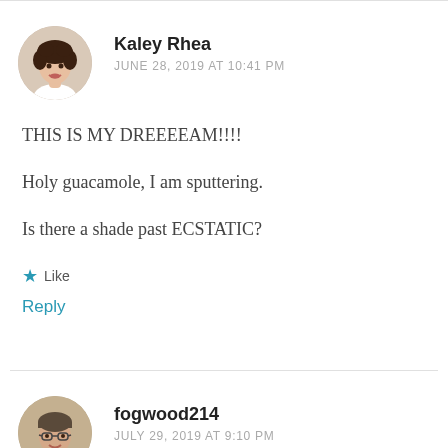Kaley Rhea
JUNE 28, 2019 AT 10:41 PM
THIS IS MY DREEEEAM!!!!
Holy guacamole, I am sputtering.
Is there a shade past ECSTATIC?
Like
Reply
fogwood214
JULY 29, 2019 AT 9:10 PM